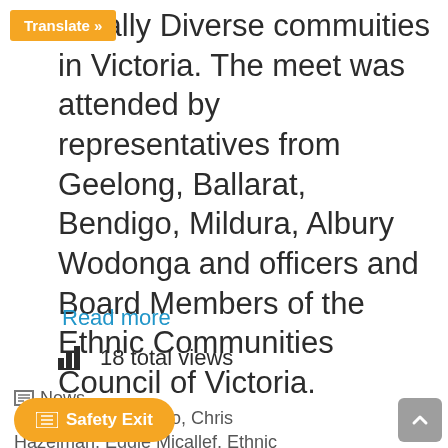Translate »
stically Diverse commuities in Victoria. The meet was attended by representatives from Geelong, Ballarat, Bendigo, Mildura, Albury Wodonga and officers and Board Members of the Ethnic Communities Council of Victoria.
Read more
18 total views
News
ga, Ballarat, Bendigo, Chris
Hazelman, Eddie Micallef, Ethnic
Safety Exit